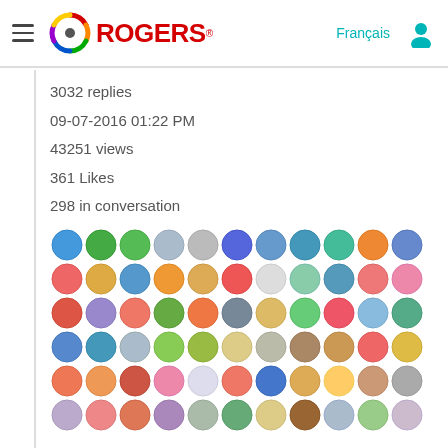Rogers - Français [user icon] [hamburger menu] Rogers logo
3032 replies
09-07-2016 01:22 PM
43251 views
361 Likes
298 in conversation
[Figure (illustration): Grid of colorful circular avatar/badge icons arranged in rows, showing various patterns including stripes, paw prints, and other decorative designs in multiple colors.]